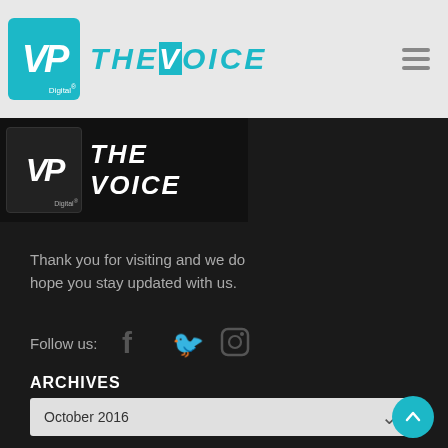[Figure (logo): VP Digital logo with teal background and 'THE VOICE' text in teal, navigation bar with hamburger menu]
[Figure (logo): VP Digital logo dark version with 'THE VOICE' in white text on black background]
Thank you for visiting and we do hope you stay updated with us.
Follow us:
ARCHIVES
October 2016